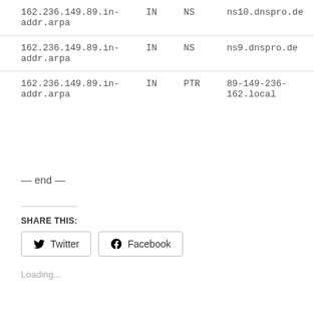| Name | Class | Type | Data |
| --- | --- | --- | --- |
| 162.236.149.89.in-addr.arpa | IN | NS | ns10.dnspro.de |
| 162.236.149.89.in-addr.arpa | IN | NS | ns9.dnspro.de |
| 162.236.149.89.in-addr.arpa | IN | PTR | 89-149-236-162.local |
— end —
SHARE THIS:
Twitter
Facebook
Loading...